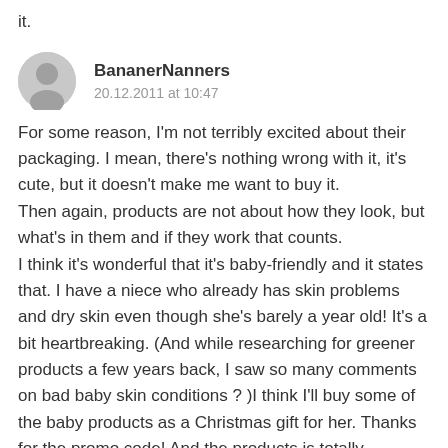it.
BananerNanners
20.12.2011 at 10:47
For some reason, I'm not terribly excited about their packaging. I mean, there's nothing wrong with it, it's cute, but it doesn't make me want to buy it.
Then again, products are not about how they look, but what's in them and if they work that counts.
I think it's wonderful that it's baby-friendly and it states that. I have a niece who already has skin problems and dry skin even though she's barely a year old! It's a bit heartbreaking. (And while researching for greener products a few years back, I saw so many comments on bad baby skin conditions ? )I think I'll buy some of the baby products as a Christmas gift for her. Thanks for the promo code! And the products is totally affordable to start